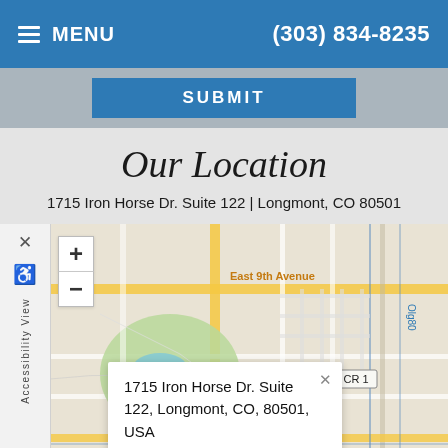MENU | (303) 834-8235
SUBMIT
Our Location
1715 Iron Horse Dr. Suite 122 | Longmont, CO 80501
[Figure (map): Google Maps view of Longmont, CO showing East 9th Avenue area with CR 1 highway marker, Pace Street visible, green park area, and a map pin at 1715 Iron Horse Dr.]
1715 Iron Horse Dr. Suite 122, Longmont, CO, 80501, USA